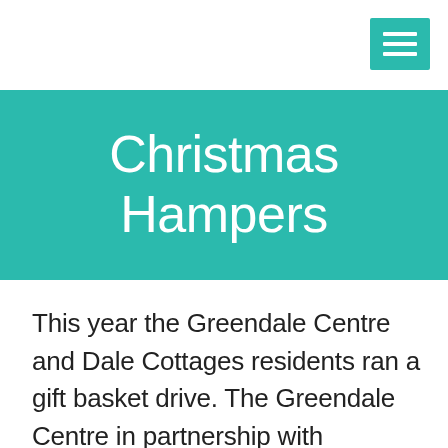[Figure (other): Hamburger menu icon button — three white horizontal lines on a teal/green square background]
Christmas Hampers
This year the Greendale Centre and Dale Cottages residents ran a gift basket drive. The Greendale Centre in partnership with Essential Personnel (who provide